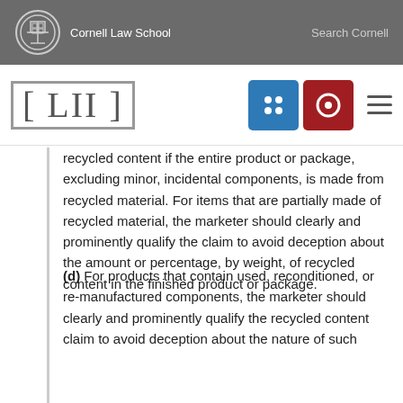Cornell Law School  Search Cornell
[Figure (logo): LII Legal Information Institute logo with Cornell Law School header, navigation icons including a menu grid button, search button, and hamburger menu]
recycled content if the entire product or package, excluding minor, incidental components, is made from recycled material. For items that are partially made of recycled material, the marketer should clearly and prominently qualify the claim to avoid deception about the amount or percentage, by weight, of recycled content in the finished product or package.
(d) For products that contain used, reconditioned, or re-manufactured components, the marketer should clearly and prominently qualify the recycled content claim to avoid deception about the nature of such